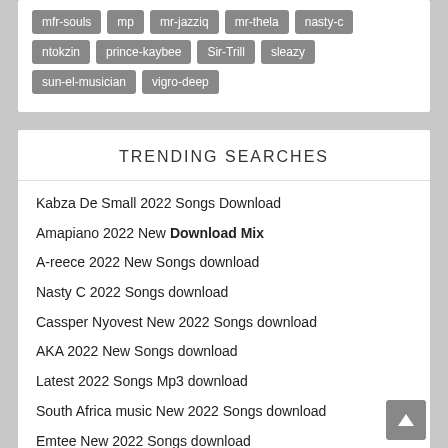mfr-souls
mp
mr-jazziq
mr-thela
nasty-c
ntokzin
prince-kaybee
Sir-Trill
sleazy
sun-el-musician
vigro-deep
TRENDING SEARCHES
Kabza De Small 2022 Songs Download
Amapiano 2022 New Download Mix
A-reece 2022 New Songs download
Nasty C 2022 Songs download
Cassper Nyovest New 2022 Songs download
AKA 2022 New Songs download
Latest 2022 Songs Mp3 download
South Africa music New 2022 Songs download
Emtee New 2022 Songs download
DJ Tira New 2022 Songs download
Black Coffee New 2022 Songs download
Babes Wodumo New 2022 Songs download
DJ Maphorisa New 2022 Songs download
Mampintsha New 2022 Songs download